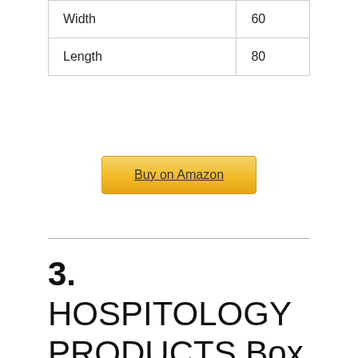| Width | 60 |
| Length | 80 |
Buy on Amazon
3. HOSPITOLOGY PRODUCTS Box Spring Encasement – Zippered Bed Bug Dust Mite Proof Hypoallergenic – Sleep Defense System – Twin – 38″ W x 75″ L